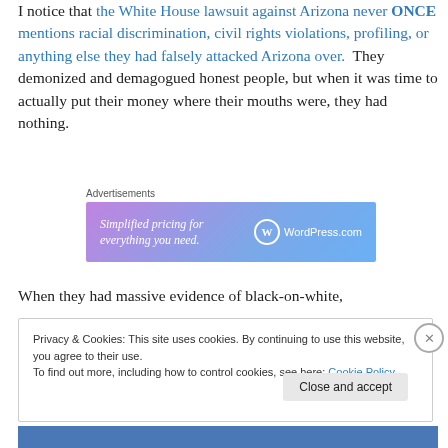I notice that the White House lawsuit against Arizona never ONCE mentions racial discrimination, civil rights violations, profiling, or anything else they had falsely attacked Arizona over. They demonized and demagogued honest people, but when it was time to actually put their money where their mouths were, they had nothing.
[Figure (infographic): WordPress.com advertisement banner: 'Simplified pricing for everything you need.' with WordPress.com logo]
When they had massive evidence of black-on-white,
Privacy & Cookies: This site uses cookies. By continuing to use this website, you agree to their use. To find out more, including how to control cookies, see here: Cookie Policy
Close and accept